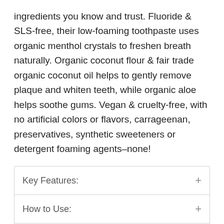ingredients you know and trust. Fluoride & SLS-free, their low-foaming toothpaste uses organic menthol crystals to freshen breath naturally. Organic coconut flour & fair trade organic coconut oil helps to gently remove plaque and whiten teeth, while organic aloe helps soothe gums. Vegan & cruelty-free, with no artificial colors or flavors, carrageenan, preservatives, synthetic sweeteners or detergent foaming agents–none!
Key Features:
How to Use:
Ingredients: